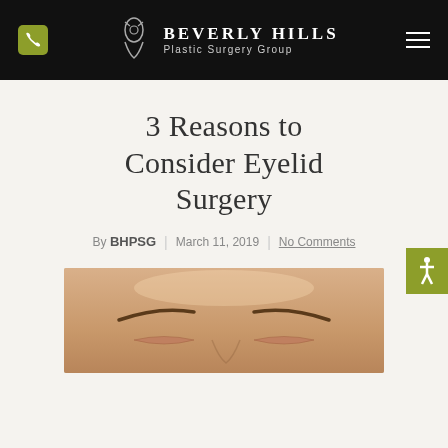[Figure (logo): Beverly Hills Plastic Surgery Group logo with phone icon and hamburger menu on dark header bar]
3 Reasons to Consider Eyelid Surgery
By BHPSG | March 11, 2019 | No Comments
[Figure (photo): Close-up photo of a person's forehead and eyes area, showing eyebrows and upper eyelids]